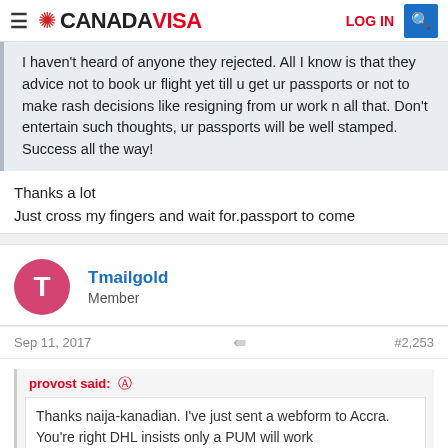CANADAVISA
I haven't heard of anyone they rejected. All I know is that they advice not to book ur flight yet till u get ur passports or not to make rash decisions like resigning from ur work n all that. Don't entertain such thoughts, ur passports will be well stamped. Success all the way!
Thanks a lot
Just cross my fingers and wait for.passport to come
Tmailgold
Member
Sep 11, 2017   #2,253
provost said:
Thanks naija-kanadian. I've just sent a webform to Accra. You're right DHL insists only a PUM will work